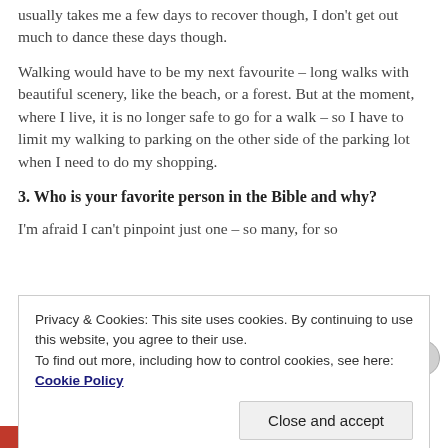usually takes me a few days to recover though, I don't get out much to dance these days though.
Walking would have to be my next favourite – long walks with beautiful scenery, like the beach, or a forest. But at the moment, where I live, it is no longer safe to go for a walk – so I have to limit my walking to parking on the other side of the parking lot when I need to do my shopping.
3. Who is your favorite person in the Bible and why?
I'm afraid I can't pinpoint just one – so many, for so many different reasons. And...
Privacy & Cookies: This site uses cookies. By continuing to use this website, you agree to their use.
To find out more, including how to control cookies, see here: Cookie Policy
Close and accept